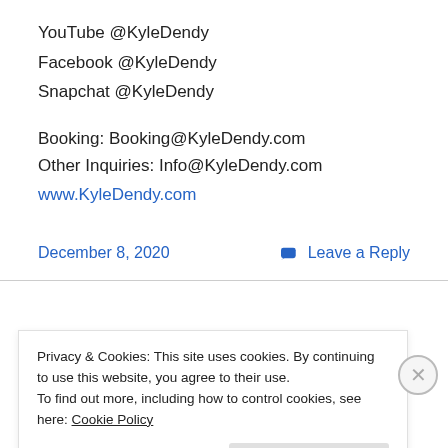YouTube @KyleDendy
Facebook @KyleDendy
Snapchat @KyleDendy
Booking: Booking@KyleDendy.com
Other Inquiries: Info@KyleDendy.com
www.KyleDendy.com
December 8, 2020   Leave a Reply
Privacy & Cookies: This site uses cookies. By continuing to use this website, you agree to their use. To find out more, including how to control cookies, see here: Cookie Policy
Close and accept